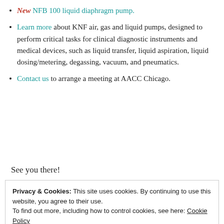New NFB 100 liquid diaphragm pump.
Learn more about KNF air, gas and liquid pumps, designed to perform critical tasks for clinical diagnostic instruments and medical devices, such as liquid transfer, liquid aspiration, liquid dosing/metering, degassing, vacuum, and pneumatics.
Contact us to arrange a meeting at AACC Chicago.
See you there!
Privacy & Cookies: This site uses cookies. By continuing to use this website, you agree to their use.
To find out more, including how to control cookies, see here: Cookie Policy